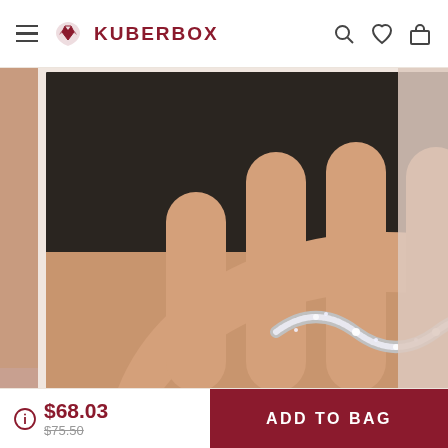KUBERBOX
[Figure (photo): Close-up photo of a diamond-studded open-band ring held in a person's palm, with silver/white gold finish and wave design]
VIEW PRODUCT
I had a wonderful experience shopping from Kuberbox online. They are very reliable with their quality and extremely prompt with their service and communication.
$68.03
$75.50
ADD TO BAG